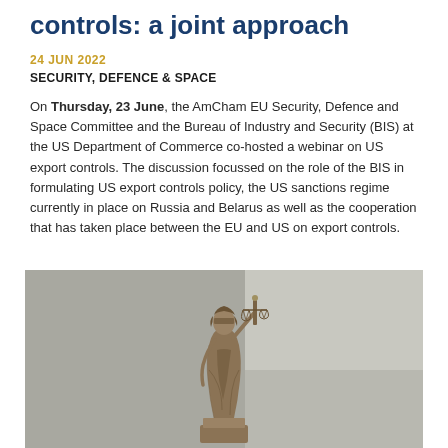controls: a joint approach
24 JUN 2022
SECURITY, DEFENCE & SPACE
On Thursday, 23 June, the AmCham EU Security, Defence and Space Committee and the Bureau of Industry and Security (BIS) at the US Department of Commerce co-hosted a webinar on US export controls. The discussion focussed on the role of the BIS in formulating US export controls policy, the US sanctions regime currently in place on Russia and Belarus as well as the cooperation that has taken place between the EU and US on export controls.
[Figure (photo): Bronze statue of Lady Justice (Themis) with blindfold and scales, photographed against a grey background]